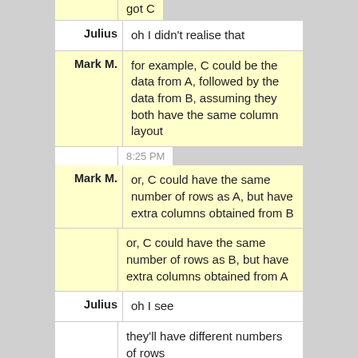got C
Julius: oh I didn't realise that
Mark M.: for example, C could be the data from A, followed by the data from B, assuming they both have the same column layout
8:25 PM
Mark M.: or, C could have the same number of rows as A, but have extra columns obtained from B
or, C could have the same number of rows as B, but have extra columns obtained from A
Julius: oh I see
they'll have different numbers of rows
(almost every time)
Mark M.: OK
is Cursor C then the combination of A's rows and B's rows?